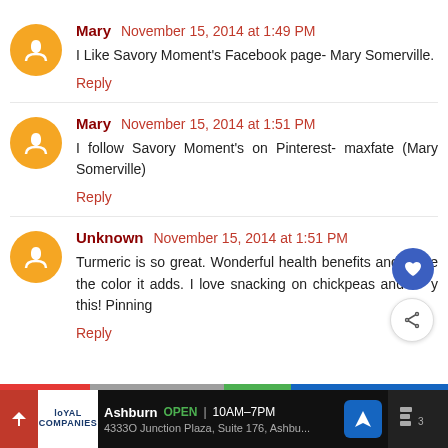Mary  November 15, 2014 at 1:49 PM
I Like Savory Moment's Facebook page- Mary Somerville.
Reply
Mary  November 15, 2014 at 1:51 PM
I follow Savory Moment's on Pinterest- maxfate (Mary Somerville)
Reply
Unknown  November 15, 2014 at 1:51 PM
Turmeric is so great. Wonderful health benefits and I love the color it adds. I love snacking on chickpeas and w y this! Pinning
Reply
Ashburn  OPEN | 10AM–7PM
4333O Junction Plaza, Suite 176, Ashbu...